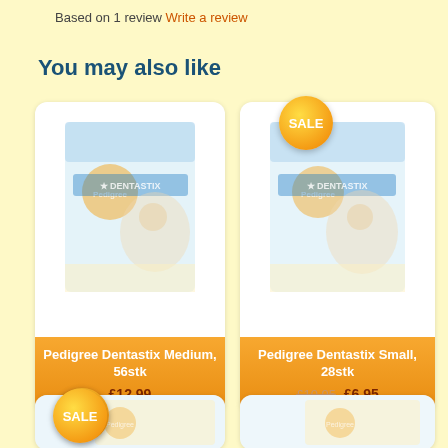Based on 1 review Write a review
You may also like
[Figure (photo): Pedigree Dentastix Medium 56stk product box]
Pedigree Dentastix Medium, 56stk £12.99
[Figure (photo): Pedigree Dentastix Small 28stk product box with SALE badge]
Pedigree Dentastix Small, 28stk £10.95 £6.95
[Figure (photo): Product box with SALE badge bottom left]
[Figure (photo): Product box with SALE badge bottom right]